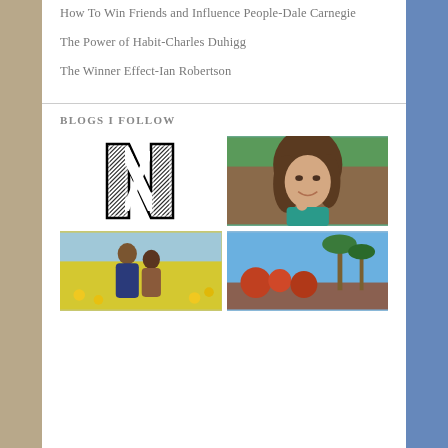How To Win Friends and Influence People-Dale Carnegie
The Power of Habit-Charles Duhigg
The Winner Effect-Ian Robertson
BLOGS I FOLLOW
[Figure (logo): Bold stylized letter N logo in black and white with diagonal line fill effect]
[Figure (photo): Portrait photo of a smiling woman with long brown hair wearing a teal top, resting chin on hand]
[Figure (photo): Photo of a man and woman couple outdoors in a yellow flower field]
[Figure (photo): Outdoor photo with blue sky and palm trees and red/orange plants]